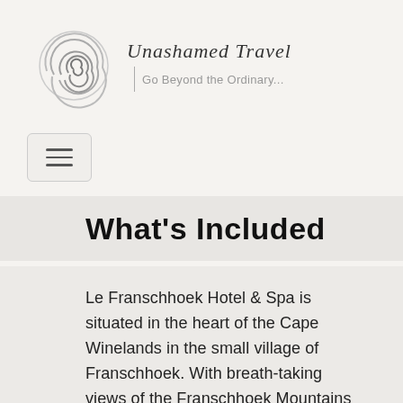[Figure (logo): Unashamed Travel logo: spiral swirl graphic on the left, brand name 'Unashamed Travel' in cursive script, vertical divider bar, tagline 'Go Beyond the Ordinary...' in grey sans-serif]
[Figure (other): Navigation hamburger menu button with three horizontal lines inside a rounded rectangle border]
What's Included
Le Franschhoek Hotel & Spa is situated in the heart of the Cape Winelands in the small village of Franschhoek. With breath-taking views of the Franschhoek Mountains and surrounded by leafy vineyards, makes this a perfectly